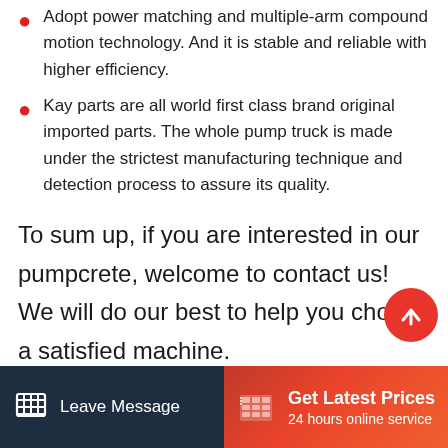Adopt power matching and multiple-arm compound motion technology. And it is stable and reliable with higher efficiency.
Kay parts are all world first class brand original imported parts. The whole pump truck is made under the strictest manufacturing technique and detection process to assure its quality.
To sum up, if you are interested in our pumpcrete, welcome to contact us! We will do our best to help you choose a satisfied machine.
Leave Message | Get Latest Prices | 24 hours online service